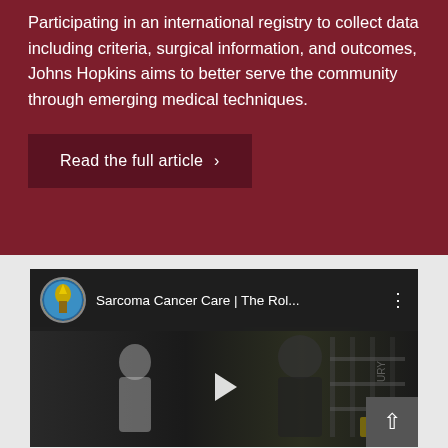Participating in an international registry to collect data including criteria, surgical information, and outcomes, Johns Hopkins aims to better serve the community through emerging medical techniques.
Read the full article ›
[Figure (screenshot): YouTube video embed showing 'Sarcoma Cancer Care | The Rol...' with a Johns Hopkins thumbnail icon, video title bar, dark video background with silhouetted figures, and a play button in the center]